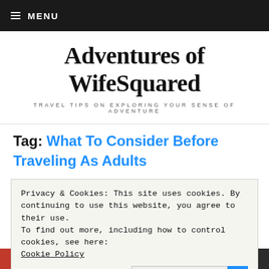≡ MENU
Adventures of WifeSquared
TRAVEL TIPS ON EXPLORING YOUR SENSE OF ADVENTURE
Tag: What To Consider Before Traveling As Adults
Privacy & Cookies: This site uses cookies. By continuing to use this website, you agree to their use.
To find out more, including how to control cookies, see here:
Cookie Policy
Close and accept
Advertisements